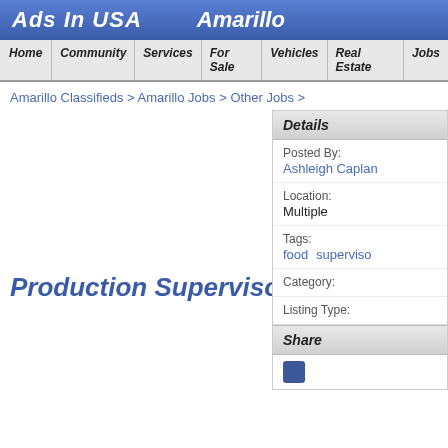Ads In USA   Amarillo
Home | Community | Services | For Sale | Vehicles | Real Estate | Jobs
Amarillo Classifieds > Amarillo Jobs > Other Jobs >
Production Supervisors
| Details |
| --- |
| Posted By: | Ashleigh Caplan |
| Location: | Multiple |
| Tags: | food  supervisor |
| Category: |  |
| Listing Type: |  |
Share